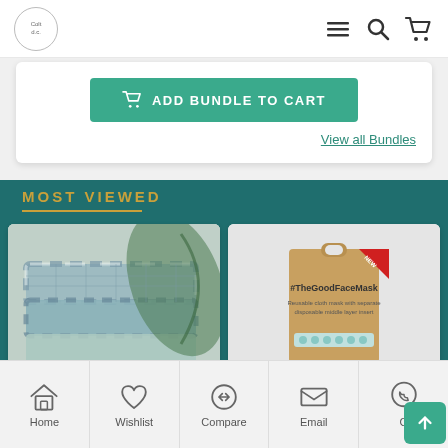E-commerce site header with logo and navigation icons (menu, search, cart)
[Figure (screenshot): Green 'ADD BUNDLE TO CART' button with shopping cart icon]
View all Bundles
MOST VIEWED
[Figure (photo): Stacked plaid/checkered shirts with green plant leaf in background]
[Figure (photo): #TheGoodFaceMask product packaging - kraft brown box with red corner badge]
Home | Wishlist | Compare | Email | Call